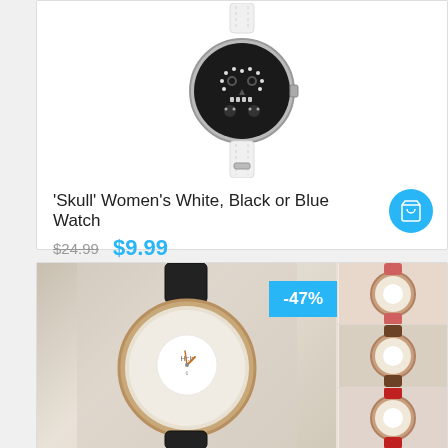[Figure (photo): Women's watch with skull design made of crystals on a black dial, silver case, white leather strap]
'Skull' Women's White, Black or Blue Watch
$24.99  $9.99
[Figure (photo): Women's watch with rose gold case, black leather strap, sparkly glitter dial with a floating inner dial, with thumbnail images showing pink, brown, and red color variants. Discount badge showing -47%]